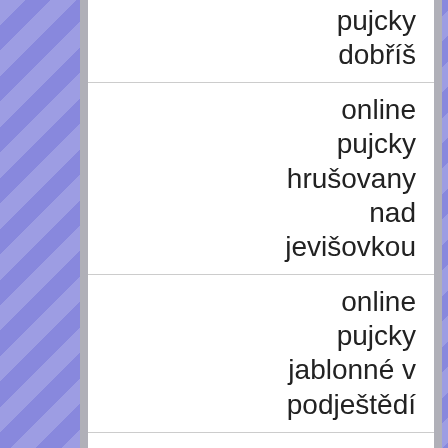pujcky dobříš
online pujcky hrušovany nad jevišovkou
online pujcky jablonné v podještědí
online pujcky sadská
nové půjčky